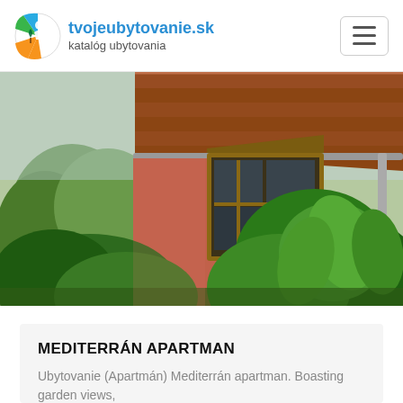tvojeubytovanie.sk katalóg ubytovania
[Figure (photo): Exterior photo of a red-walled house with terracotta tile roof, wooden bay window, and lush green plants/garden in foreground]
MEDITERRÁN APARTMAN
Ubytovanie (Apartmán) Mediterrán apartman. Boasting garden views,